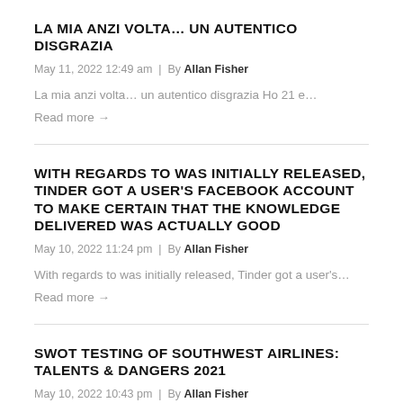LA MIA ANZI VOLTA… UN AUTENTICO DISGRAZIA
May 11, 2022 12:49 am | By Allan Fisher
La mia anzi volta… un autentico disgrazia Ho 21 e…
Read more →
WITH REGARDS TO WAS INITIALLY RELEASED, TINDER GOT A USER'S FACEBOOK ACCOUNT TO MAKE CERTAIN THAT THE KNOWLEDGE DELIVERED WAS ACTUALLY GOOD
May 10, 2022 11:24 pm | By Allan Fisher
With regards to was initially released, Tinder got a user's…
Read more →
SWOT TESTING OF SOUTHWEST AIRLINES: TALENTS & DANGERS 2021
May 10, 2022 10:43 pm | By Allan Fisher